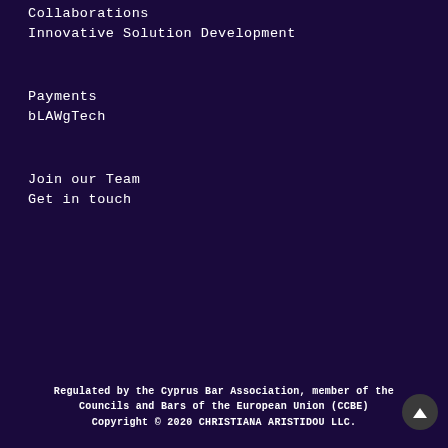Collaborations
Innovative Solution Development
Payments
bLAWgTech
Join our Team
Get in touch
Regulated by the Cyprus Bar Association, member of the Councils and Bars of the European Union (CCBE) Copyright © 2020 CHRISTIANA ARISTIDOU LLC.